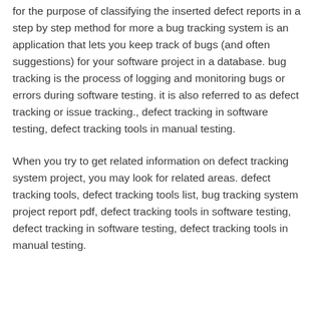for the purpose of classifying the inserted defect reports in a step by step method for more a bug tracking system is an application that lets you keep track of bugs (and often suggestions) for your software project in a database. bug tracking is the process of logging and monitoring bugs or errors during software testing. it is also referred to as defect tracking or issue tracking., defect tracking in software testing, defect tracking tools in manual testing.
When you try to get related information on defect tracking system project, you may look for related areas. defect tracking tools, defect tracking tools list, bug tracking system project report pdf, defect tracking tools in software testing, defect tracking in software testing, defect tracking tools in manual testing.